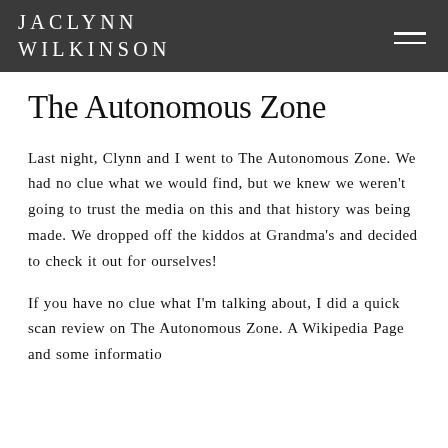JACLYNN WILKINSON
The Autonomous Zone
Last night, Clynn and I went to The Autonomous Zone. We had no clue what we would find, but we knew we weren't going to trust the media on this and that history was being made. We dropped off the kiddos at Grandma's and decided to check it out for ourselves!
If you have no clue what I'm talking about, I did a quick scan review on The Autonomous Zone. A Wikipedia Page and some information...